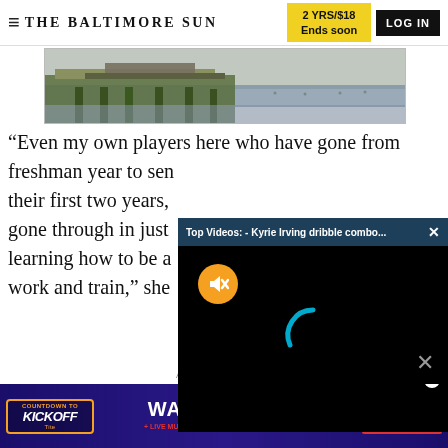THE BALTIMORE SUN | 2 YRS/$18 Ends soon | LOG IN
[Figure (photo): Waterfront dock scene with green pilings and a structure over water, with a wide waterway horizon in the background.]
“Even my own players here who have gone from freshman year to senior year, in their first two years, [they’ve] gone through in just learning how to be a work and train,” she
[Figure (screenshot): Video player overlay with dark blue top bar reading 'Top Videos: - Kyrie Irving dribble combo...' with a close X button, black video body with orange mute button (speaker with slash icon) at top left and a cyan loading arc spinner in center.]
to send to players, ‘Well, I’m not getting what I want,
so I can transfer.’”
ADVERTISEMENT
[Figure (infographic): Baltimore Ravens advertisement banner. Left: Kickoff countdown badge in orange/purple. Center: 'WATCH PARTY!' text with Ravens logos, '+ LIVE MUSIC SEPT. 11 @ POWER PLANT LIVE!' tagline. Right: red 'CLAIM YOUR FREE TICKET' button. Purple/dark background.]